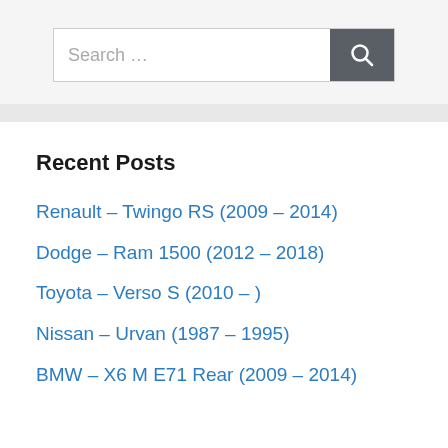[Figure (screenshot): Search bar with text input field showing 'Search ...' placeholder and a dark grey search button with magnifying glass icon]
Recent Posts
Renault – Twingo RS (2009 – 2014)
Dodge – Ram 1500 (2012 – 2018)
Toyota – Verso S (2010 – )
Nissan – Urvan (1987 – 1995)
BMW – X6 M E71 Rear (2009 – 2014)